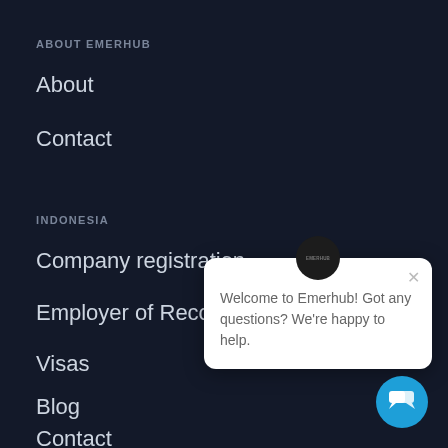ABOUT EMERHUB
About
Contact
INDONESIA
Company registration
Employer of Record
Visas
Blog
Contact
[Figure (screenshot): Chat popup widget with Emerhub logo at top, close button (×), and message: 'Welcome to Emerhub! Got any questions? We're happy to help.']
[Figure (other): Blue circular chat button with chat bubble icon in bottom-right corner]